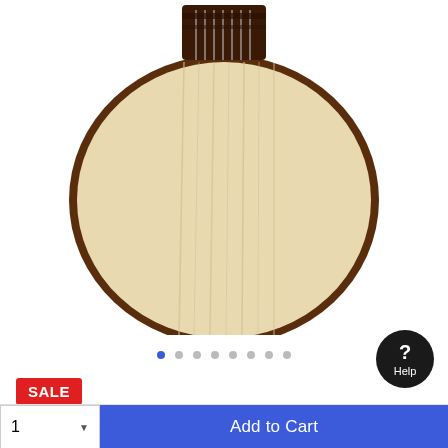[Figure (photo): Bottom portion of an acoustic-electric guitar body showing the spruce top with wood grain texture, dark brown sides, and a bridge with strings visible at the top edge. White background.]
[Figure (infographic): Image carousel navigation dots: 8 dots total, first dot is blue/active, rest are gray.]
SALE
Mitchell
Mitchell T313CE Solid Spruce Top Auditor Acoustic Electric Guitar
Add to Cart